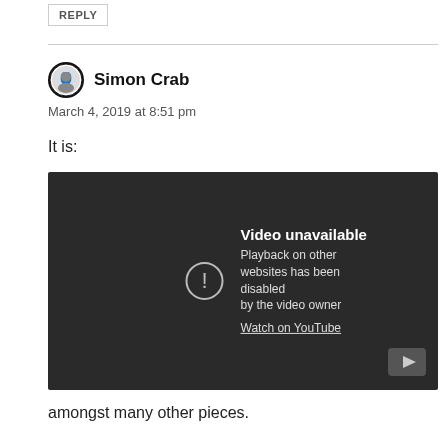REPLY
Simon Crab
March 4, 2019 at 8:51 pm
It is:
[Figure (screenshot): YouTube embedded video player showing 'Video unavailable' message. Text reads: 'Playback on other websites has been disabled by the video owner. Watch on YouTube.' Dark background with a warning icon (exclamation mark in circle) and YouTube logo in corner.]
amongst many other pieces.